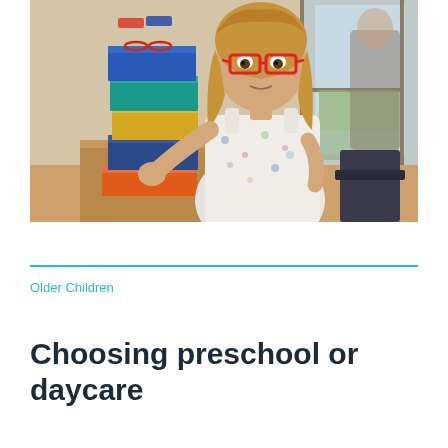[Figure (photo): A young blonde girl wearing red glasses stacking colorful boxes (blue, teal, yellow, orange, dark blue) that have eyeglasses on top of each other, in what appears to be an optician's store.]
Older Children
Choosing preschool or daycare